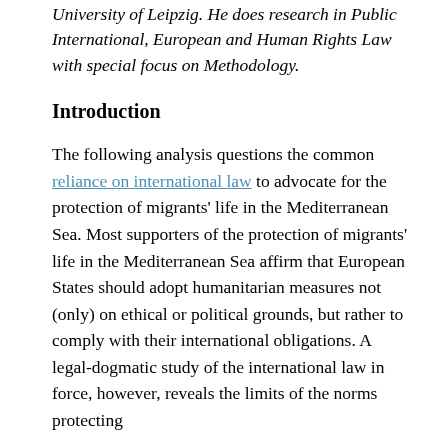University of Leipzig. He does research in Public International, European and Human Rights Law with special focus on Methodology.
Introduction
The following analysis questions the common reliance on international law to advocate for the protection of migrants' life in the Mediterranean Sea. Most supporters of the protection of migrants' life in the Mediterranean Sea affirm that European States should adopt humanitarian measures not (only) on ethical or political grounds, but rather to comply with their international obligations. A legal-dogmatic study of the international law in force, however, reveals the limits of the norms protecting